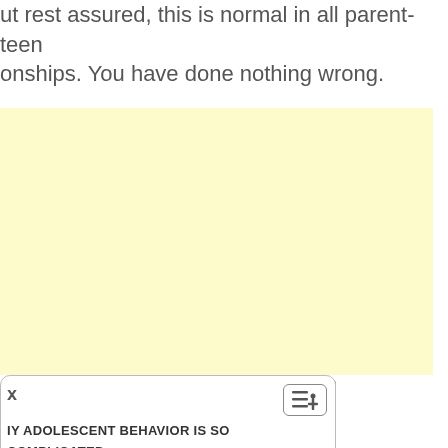ut rest assured, this is normal in all parent-teen relationships. You have done nothing wrong.
[Figure (other): Large yellow/cream colored rectangular box, likely an image or video placeholder area]
x
[Figure (other): Small icon button with horizontal lines and a plus symbol, resembling a table of contents or menu icon]
IY ADOLESCENT BEHAVIOR IS SO COMPLICATED
EY ARE GROWING ...
KE A DEEP BREATH...